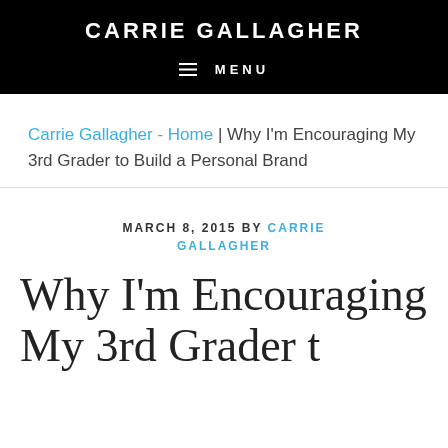CARRIE GALLAGHER
≡ MENU
Carrie Gallagher - Home | Why I'm Encouraging My 3rd Grader to Build a Personal Brand
MARCH 8, 2015 BY CARRIE GALLAGHER
Why I'm Encouraging